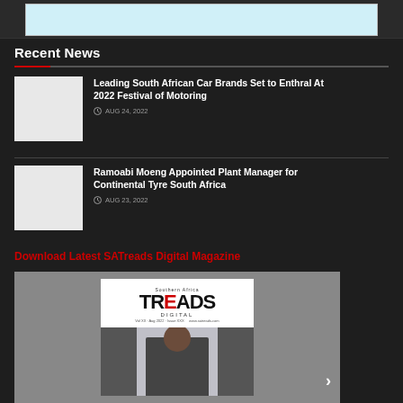[Figure (screenshot): Top banner/advertisement area with light blue background]
Recent News
Leading South African Car Brands Set to Enthral At 2022 Festival of Motoring — AUG 24, 2022
Ramoabi Moeng Appointed Plant Manager for Continental Tyre South Africa — AUG 23, 2022
Download Latest SATreads Digital Magazine
[Figure (photo): SATreads digital magazine cover showing Treads Digital logo and a person in a suit smiling]